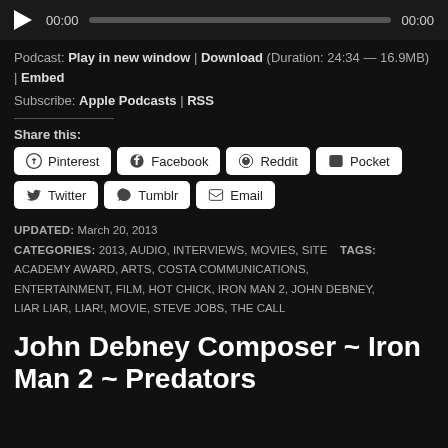[Figure (other): Audio player with play button, progress bar, and time labels 00:00]
Podcast: Play in new window | Download (Duration: 24:34 — 16.9MB) | Embed
Subscribe: Apple Podcasts | RSS
Share this:
Pinterest | Facebook | Reddit | Pocket | Twitter | Tumblr | Email
UPDATED: March 20, 2013
CATEGORIES: 2013, AUDIO, INTERVIEWS, MOVIES, SITE   TAGS: ACADEMY AWARD, ARTS, COSTA COMMUNICATIONS, ENTERTAINMENT, FILM, HOT CHICK, IRON MAN 2, JOHN DEBNEY, LIAR LIAR, LIAR!, MOVIE, STEVE JOBS, THE CALL
John Debney Composer ~ Iron Man 2 ~ Predators